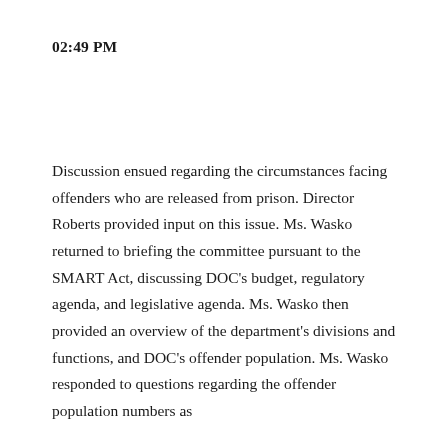02:49 PM
Discussion ensued regarding the circumstances facing offenders who are released from prison. Director Roberts provided input on this issue. Ms. Wasko returned to briefing the committee pursuant to the SMART Act, discussing DOC’s budget, regulatory agenda, and legislative agenda. Ms. Wasko then provided an overview of the department’s divisions and functions, and DOC’s offender population. Ms. Wasko responded to questions regarding the offender population numbers as